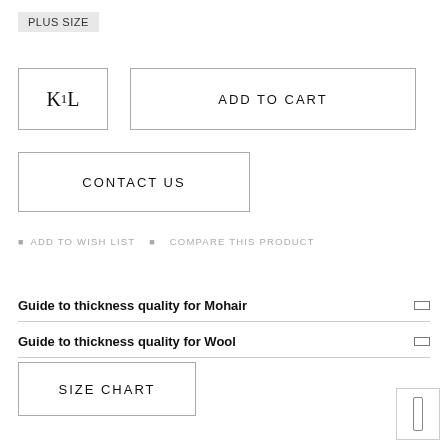PLUS SIZE
K1L
ADD TO CART
CONTACT US
ADD TO WISH LIST   COMPARE THIS PRODUCT
Guide to thickness quality for Mohair
Guide to thickness quality for Wool
SIZE CHART